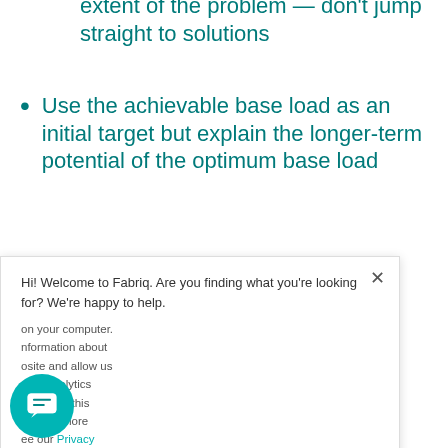Use your data to explain the extent of the problem — don't jump straight to solutions
Use the achievable base load as an initial target but explain the longer-term potential of the optimum base load
Get the person who controls your
Hi! Welcome to Fabriq. Are you finding what you're looking for? We're happy to help.
on your computer. nformation about osite and allow us s for analytics s both on this find out more ee our Privacy Note.
Okay
Decline